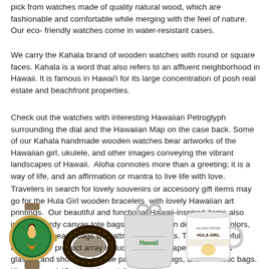pick from watches made of quality natural wood, which are fashionable and comfortable while merging with the feel of nature. Our eco- friendly watches come in water-resistant cases.
We carry the Kahala brand of wooden watches with round or square faces. Kahala is a word that also refers to an affluent neighborhood in Hawaii. It is famous in Hawai'i for its large concentration of posh real estate and beachfront properties.
Check out the watches with interesting Hawaiian Petroglyph surrounding the dial and the Hawaiian Map on the case back. Some of our Kahala handmade wooden watches bear artworks of the Hawaiian girl, ukulele, and other images conveying the vibrant landscapes of Hawaii. Aloha connotes more than a greeting; it is a way of life, and an affirmation or mantra to live life with love.
Travelers in search for lovely souvenirs or accessory gift items may go for the Hula Girl wooden bracelets with lovely Hawaiian art printings. Our beautiful and functional Hawaii-inspired items also include sturdy canvas tote bags in different fun designs and colors, and quality beach bags with attractive patterns. The other useful items in our product array include ashtrays, paperweight, shot glasses and shooters, mouse pads, travel mugs, and cosmetic bags. Kipa hou mai (Come visit again!)
[Figure (photo): A wooden watch with a gold bezel featuring a Hula girl artwork on the face]
[Figure (photo): A wooden/dark bead bracelet]
[Figure (photo): A canvas tote bag with Hawaii text and design]
[Figure (photo): A white mug with Hula Girl text and design]